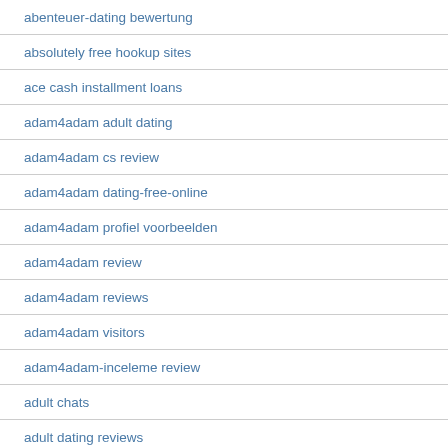abenteuer-dating bewertung
absolutely free hookup sites
ace cash installment loans
adam4adam adult dating
adam4adam cs review
adam4adam dating-free-online
adam4adam profiel voorbeelden
adam4adam review
adam4adam reviews
adam4adam visitors
adam4adam-inceleme review
adult chats
adult dating reviews
Adult dating sites app
Adult free dating sites no sign up